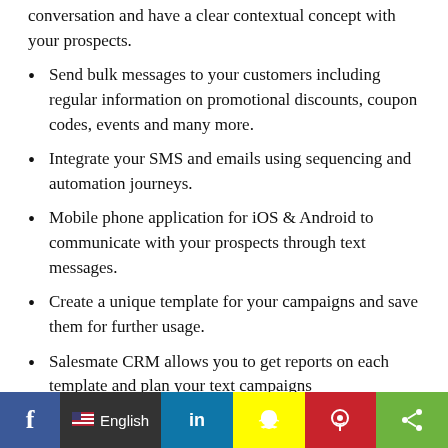conversation and have a clear contextual concept with your prospects.
Send bulk messages to your customers including regular information on promotional discounts, coupon codes, events and many more.
Integrate your SMS and emails using sequencing and automation journeys.
Mobile phone application for iOS & Android to communicate with your prospects through text messages.
Create a unique template for your campaigns and save them for further usage.
Salesmate CRM allows you to get reports on each template and plan your text campaigns
f  English  in  [snapchat]  [pinterest]  [share]